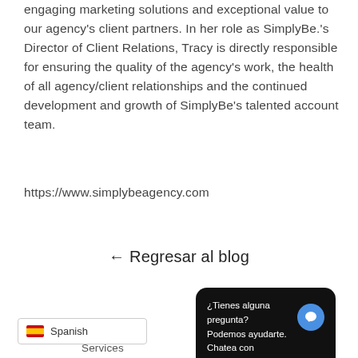engaging marketing solutions and exceptional value to our agency's client partners. In her role as SimplyBe.'s Director of Client Relations, Tracy is directly responsible for ensuring the quality of the agency's work, the health of all agency/client relationships and the continued development and growth of SimplyBe's talented account team.
https://www.simplybeagency.com
← Regresar al blog
¿Tienes alguna pregunta? Podemos ayudarte. Chatea con nosotros ahora.
Spanish
Services